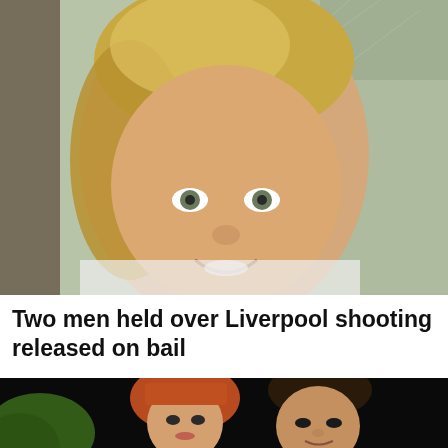[Figure (photo): Close-up photo of a young blonde girl smiling, with a blurred background.]
Two men held over Liverpool shooting released on bail
[Figure (photo): Photo of a woman with red hair and a man with dark hair against a dark background.]